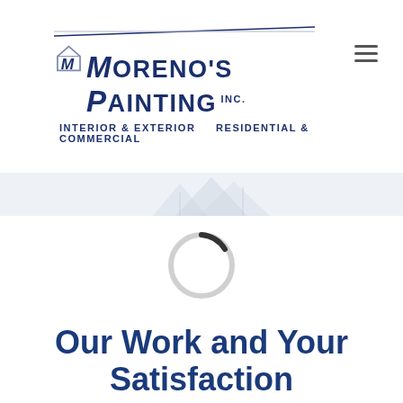[Figure (logo): Moreno's Painting Inc. logo with stylized M icon, diagonal lines above, and tagline 'Interior & Exterior  Residential & Commercial']
[Figure (illustration): Light blue banner strip with faint rooftop/house illustration in light gray]
[Figure (other): Circular loading spinner — mostly light gray ring with small dark arc segment at top-right]
Our Work and Your Satisfaction